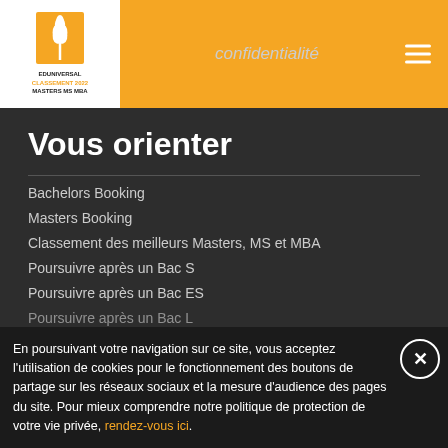[Figure (logo): Eduniversal logo: white wheat-like icon on orange background, text reads EDUNIVERSAL CLASSEMENT 2022 MASTERS MS MBA]
confidentialité
Vous orienter
Bachelors Booking
Masters Booking
Classement des meilleurs Masters, MS et MBA
Poursuivre après un Bac S
Poursuivre après un Bac ES
Poursuivre après un Bac L
En poursuivant votre navigation sur ce site, vous acceptez l'utilisation de cookies pour le fonctionnement des boutons de partage sur les réseaux sociaux et la mesure d'audience des pages du site. Pour mieux comprendre notre politique de protection de votre vie privée, rendez-vous ici.